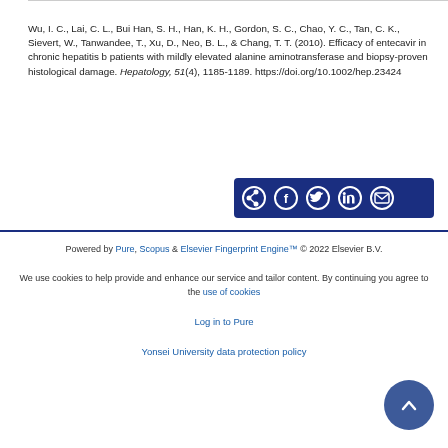Wu, I. C., Lai, C. L., Bui Han, S. H., Han, K. H., Gordon, S. C., Chao, Y. C., Tan, C. K., Sievert, W., Tanwandee, T., Xu, D., Neo, B. L., & Chang, T. T. (2010). Efficacy of entecavir in chronic hepatitis b patients with mildly elevated alanine aminotransferase and biopsy-proven histological damage. Hepatology, 51(4), 1185-1189. https://doi.org/10.1002/hep.23424
[Figure (other): Social sharing button bar with icons for share, Facebook, Twitter, LinkedIn, and email on dark navy background]
Powered by Pure, Scopus & Elsevier Fingerprint Engine™ © 2022 Elsevier B.V.
We use cookies to help provide and enhance our service and tailor content. By continuing you agree to the use of cookies
Log in to Pure
Yonsei University data protection policy